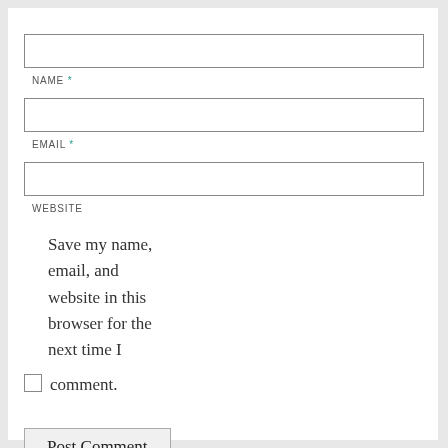NAME *
EMAIL *
WEBSITE
Save my name, email, and website in this browser for the next time I comment.
Post Comment